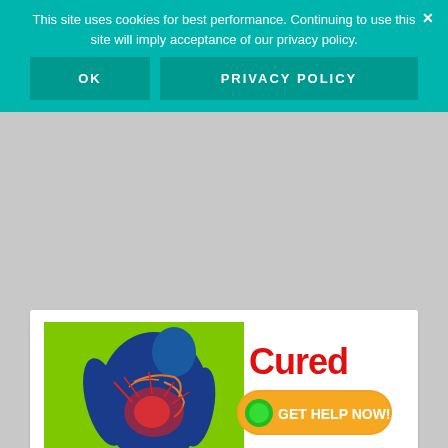This site uses cookies for best performance. Continuing to use this site will imply acceptance of our privacy policy.
OK
PRIVACY POLICY
[Figure (illustration): Medical advertisement image showing a human figure with back pain highlighted in red/pink on a green background, with large red text 'Cured' and an orange button saying 'GET HELP NOW!']
Search